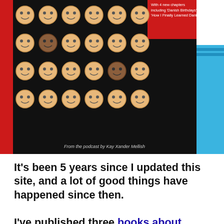[Figure (illustration): Book cover image showing rows of cartoon smiley face emoji icons on a dark background with a red left stripe and red banner top-right reading 'With 4 new chapters including Danish Birthdays, How I Finally Learned Danish'. Blue sidebar on right. Bottom credit: 'From the podcast by Kay Xander Mellish']
It's been 5 years since I updated this site, and a lot of good things have happened since then.
I've published three books about Denmark, and am working on a fourth. I also deliver keynote speeches about Denmark both here and elsewhere in Europe. There are lots of fun; I do...